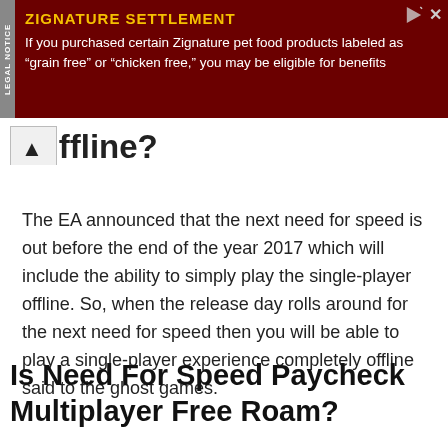[Figure (other): Advertisement banner with dark red background. Yellow bold title reads 'ZIGNATURE SETTLEMENT'. White body text reads 'If you purchased certain Zignature pet food products labeled as "grain free" or "chicken free," you may be eligible for benefits'. Left side has vertical grey bar reading 'LEGAL NOTICE'.]
Offline?
The EA announced that the next need for speed is out before the end of the year 2017 which will include the ability to simply play the single-player offline. So, when the release day rolls around for the next need for speed then you will be able to play a single-player experience completely offline said to the ghost games.
Is Need For Speed Paycheck Multiplayer Free Roam?